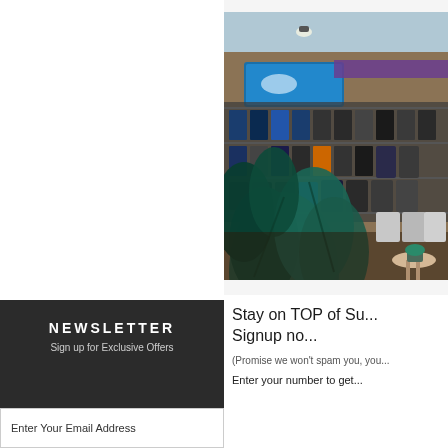[Figure (photo): Interior of a retail dive/water sports shop with rows of equipment on shelves and large tropical plant in foreground]
NEWSLETTER
Sign up for Exclusive Offers
Enter Your Email Address
Stay on TOP of Su... Signup no...
(Promise we won't spam you, you...
Enter your number to get...